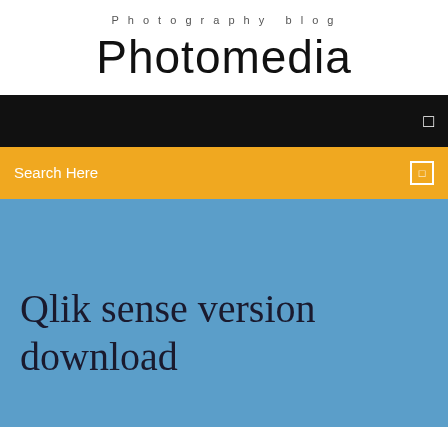Photography blog
Photomedia
Search Here
Qlik sense version download